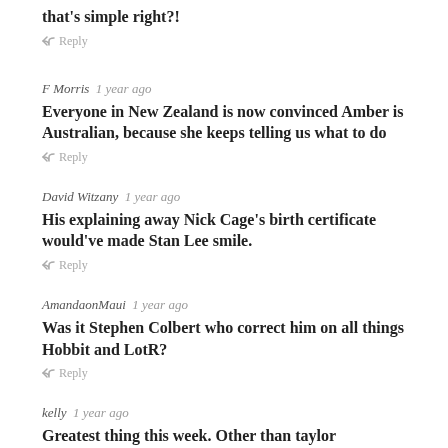that's simple right?!
↩ Reply
F Morris  1 year ago
Everyone in New Zealand is now convinced Amber is Australian, because she keeps telling us what to do
↩ Reply
David Witzany  1 year ago
His explaining away Nick Cage's birth certificate would've made Stan Lee smile.
↩ Reply
AmandaonMaui  1 year ago
Was it Stephen Colbert who correct him on all things Hobbit and LotR?
↩ Reply
kelly  1 year ago
Greatest thing this week. Other than taylor